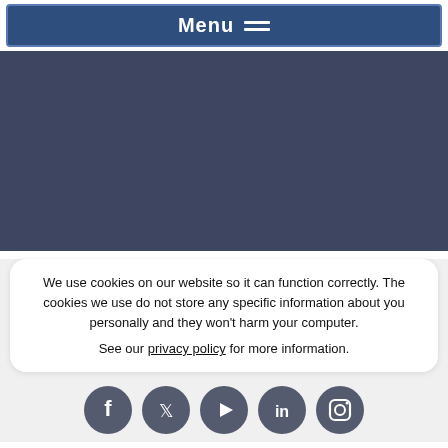Menu ≡
[Figure (other): Dark blue-grey background area (content area placeholder)]
We use cookies on our website so it can function correctly. The cookies we use do not store any specific information about you personally and they won't harm your computer.

See our privacy policy for more information.
Background
Patient Name: Charlotte
[Figure (other): Row of five social media icon buttons: Facebook, Twitter, YouTube, LinkedIn, Instagram]